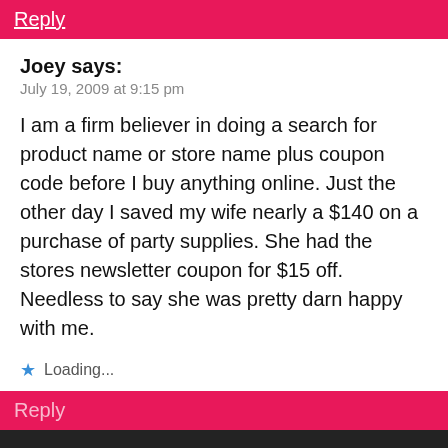Reply
Joey says:
July 19, 2009 at 9:15 pm
I am a firm believer in doing a search for product name or store name plus coupon code before I buy anything online. Just the other day I saved my wife nearly a $140 on a purchase of party supplies. She had the stores newsletter coupon for $15 off. Needless to say she was pretty darn happy with me.
Loading...
Reply
By continuing to use the site, you agree to the use of cookies. more information
ACCEPT